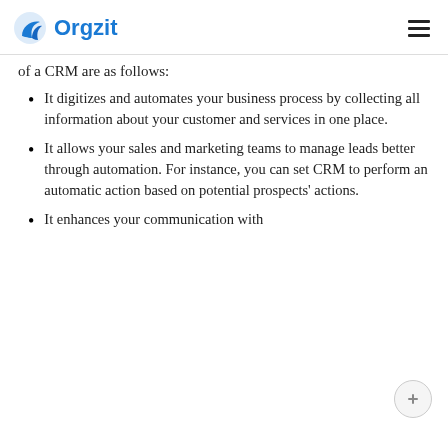Orgzit
of a CRM are as follows:
It digitizes and automates your business process by collecting all information about your customer and services in one place.
It allows your sales and marketing teams to manage leads better through automation. For instance, you can set CRM to perform an automatic action based on potential prospects' actions.
It enhances your communication with